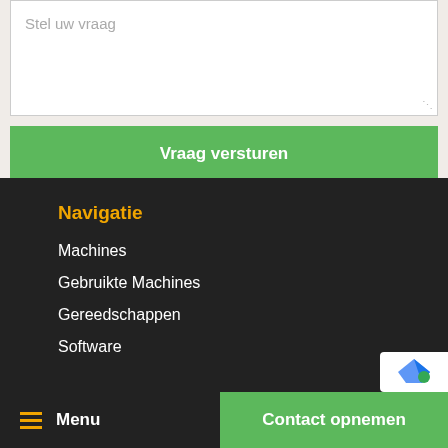[Figure (screenshot): Web form text area with placeholder 'Stel uw vraag' and a green submit button 'Vraag versturen']
Stel uw vraag
Vraag versturen
Navigatie
Machines
Gebruikte Machines
Gereedschappen
Software
Menu   Contact opnemen